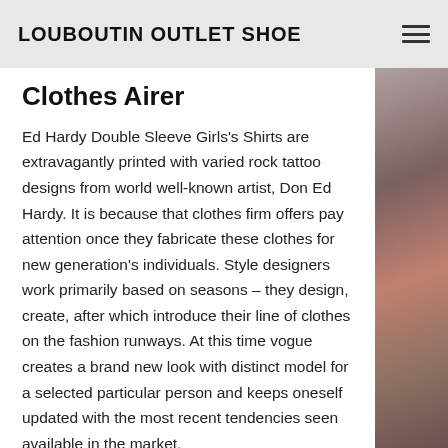LOUBOUTIN OUTLET SHOE
Clothes Airer
Ed Hardy Double Sleeve Girls's Shirts are extravagantly printed with varied rock tattoo designs from world well-known artist, Don Ed Hardy. It is because that clothes firm offers pay attention once they fabricate these clothes for new generation's individuals. Style designers work primarily based on seasons – they design, create, after which introduce their line of clothes on the fashion runways. At this time vogue creates a brand new look with distinct model for a selected particular person and keeps oneself updated with the most recent tendencies seen available in the market.